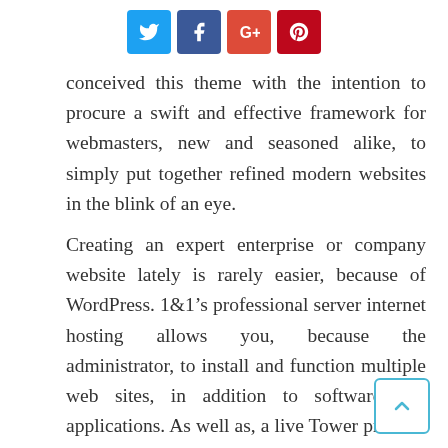[Figure (other): Social media sharing icons: Twitter (blue), Facebook (dark blue), Google+ (red), Pinterest (dark red)]
conceived this theme with the intention to procure a swift and effective framework for webmasters, new and seasoned alike, to simply put together refined modern websites in the blink of an eye.
Creating an expert enterprise or company website lately is rarely easier, because of WordPress. 1&1’s professional server internet hosting allows you, because the administrator, to install and function multiple web sites, in addition to software and applications. As well as, a live Tower preview is on the market for users who want to pattern this theme’s options.
For those who merely want a website to inform y...